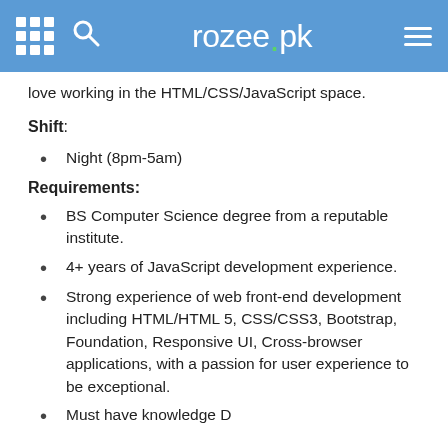rozee.pk
love working in the HTML/CSS/JavaScript space.
Shift:
Night (8pm-5am)
Requirements:
BS Computer Science degree from a reputable institute.
4+ years of JavaScript development experience.
Strong experience of web front-end development including HTML/HTML 5, CSS/CSS3, Bootstrap, Foundation, Responsive UI, Cross-browser applications, with a passion for user experience to be exceptional.
Must have knowledge D...